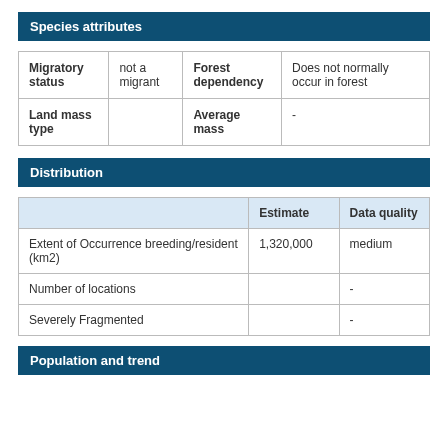Species attributes
| Migratory status |  | Forest dependency |  |
| --- | --- | --- | --- |
| Migratory status | not a migrant | Forest dependency | Does not normally occur in forest |
| Land mass type |  | Average mass | - |
Distribution
|  | Estimate | Data quality |
| --- | --- | --- |
| Extent of Occurrence breeding/resident (km2) | 1,320,000 | medium |
| Number of locations |  | - |
| Severely Fragmented |  | - |
Population and trend